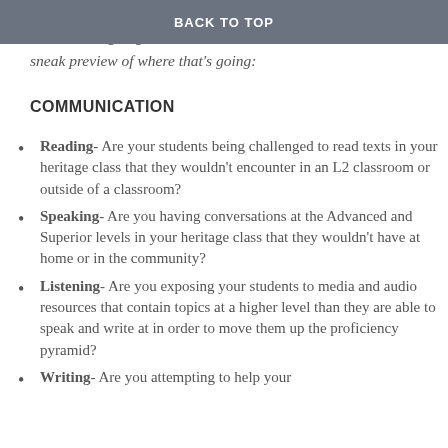nervous), and I guess this post is turning into a sneak preview of where that's going:
BACK TO TOP
COMMUNICATION
Reading- Are your students being challenged to read texts in your heritage class that they wouldn't encounter in an L2 classroom or outside of a classroom?
Speaking- Are you having conversations at the Advanced and Superior levels in your heritage class that they wouldn't have at home or in the community?
Listening- Are you exposing your students to media and audio resources that contain topics at a higher level than they are able to speak and write at in order to move them up the proficiency pyramid?
Writing- Are you attempting to help your